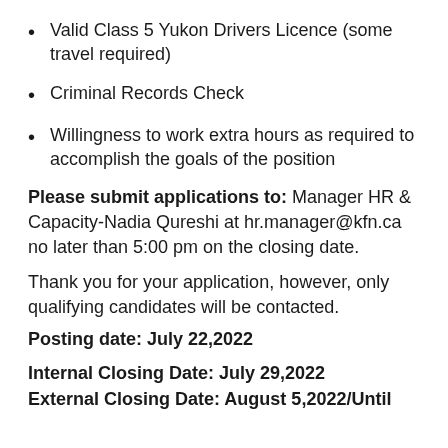Valid Class 5 Yukon Drivers Licence (some travel required)
Criminal Records Check
Willingness to work extra hours as required to accomplish the goals of the position
Please submit applications to: Manager HR & Capacity-Nadia Qureshi at hr.manager@kfn.ca no later than 5:00 pm on the closing date.
Thank you for your application, however, only qualifying candidates will be contacted.
Posting date: July 22,2022
Internal Closing Date: July 29,2022
External Closing Date: August 5,2022/Until